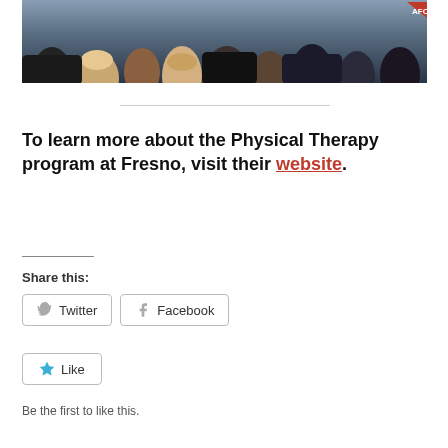[Figure (photo): Crowd of people seen from behind, attending an event or conference, with various hair colors and dark clothing.]
To learn more about the Physical Therapy program at Fresno, visit their website.
Share this:
Twitter
Facebook
Like
Be the first to like this.